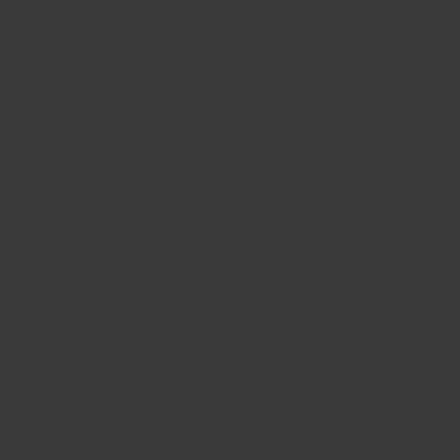Toshiba Satellite A200-1
Toshiba Satellite A200-1
Toshiba Satellite a200-2
TOSHIBA Satellite A200
Toshiba Satellite A200-2
Toshiba Satellite A200-2
Toshiba Satellite A200-2
Toshiba Satellite A200-2
Toshiba Satellite A200-2
Toshiba Satellite A200-2
Toshiba Satellite A200-2
Toshiba Satellite A200-2
Toshiba Satellite A200-2
Toshiba Satellite A200-2
Toshiba Satellite A210-1
Toshiba Satellite A210-1
Toshiba Satellite A210-1
Toshiba Satellite A210-1
Toshiba Satellite A210-1
Toshiba Satellite A210-1
Toshiba Satellite A300-1
Toshiba Satellite A300-1
Toshiba Satellite A300-1
Toshiba Satellite L300-1
Toshiba Satellite L300-1